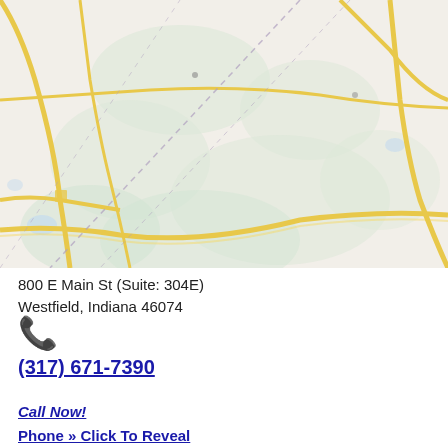[Figure (map): Street map of Westfield, Indiana area showing roads and terrain, with yellow roads and green/blue terrain features and dashed boundary lines.]
800 E Main St (Suite: 304E)
Westfield, Indiana 46074
[Figure (illustration): Phone handset icon (emoji/symbol)]
(317) 671-7390
Call Now!
Phone » Click To Reveal